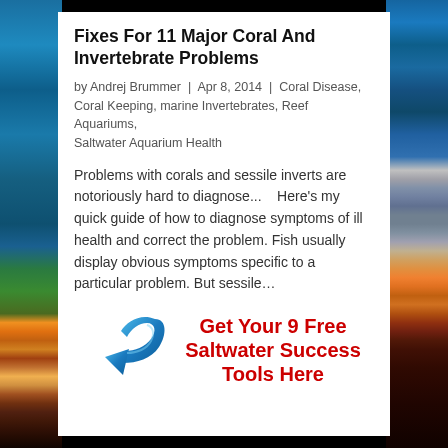[Figure (photo): Underwater reef aquarium photograph strip on the left side of the page]
[Figure (photo): Underwater reef aquarium photograph strip on the right side of the page with tropical fish]
Fixes For 11 Major Coral And Invertebrate Problems
by Andrej Brummer | Apr 8, 2014 | Coral Disease, Coral Keeping, marine Invertebrates, Reef Aquariums, Saltwater Aquarium Health
Problems with corals and sessile inverts are notoriously hard to diagnose...   Here's my quick guide of how to diagnose symptoms of ill health and correct the problem. Fish usually display obvious symptoms specific to a particular problem. But sessile...
[Figure (illustration): Blue curved arrow icon pointing down-left, used as a call-to-action graphic]
Get Your 9 Free Saltwater Success Tools Here